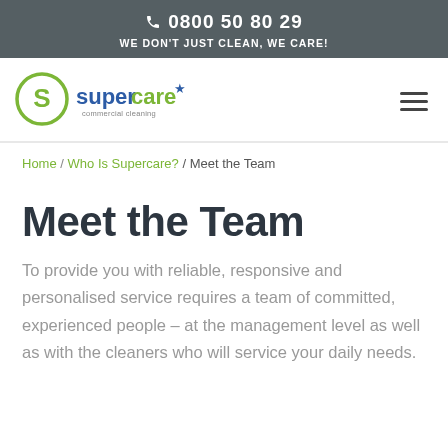📞 0800 50 80 29
WE DON'T JUST CLEAN, WE CARE!
[Figure (logo): Supercare commercial cleaning logo with circular S emblem in green, 'supercare' in blue and green text, star icon, and 'commercial cleaning' tagline]
Home / Who Is Supercare? / Meet the Team
Meet the Team
To provide you with reliable, responsive and personalised service requires a team of committed, experienced people – at the management level as well as with the cleaners who will service your daily needs.